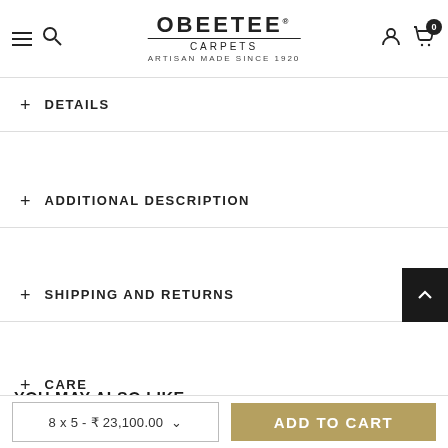OBEETEE CARPETS ARTISAN MADE SINCE 1920
+ DETAILS
+ ADDITIONAL DESCRIPTION
+ SHIPPING AND RETURNS
+ CARE
YOU MAY ALSO LIKE
8 x 5 - ₹ 23,100.00  ADD TO CART